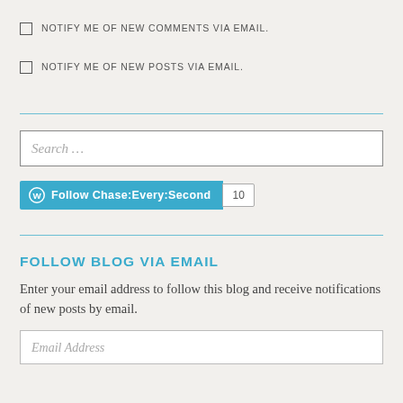NOTIFY ME OF NEW COMMENTS VIA EMAIL.
NOTIFY ME OF NEW POSTS VIA EMAIL.
[Figure (other): Search input box with placeholder text 'Search ...']
[Figure (other): WordPress Follow Chase:Every:Second button with follower count badge showing 10]
FOLLOW BLOG VIA EMAIL
Enter your email address to follow this blog and receive notifications of new posts by email.
[Figure (other): Email Address input box with italic placeholder text 'Email Address']